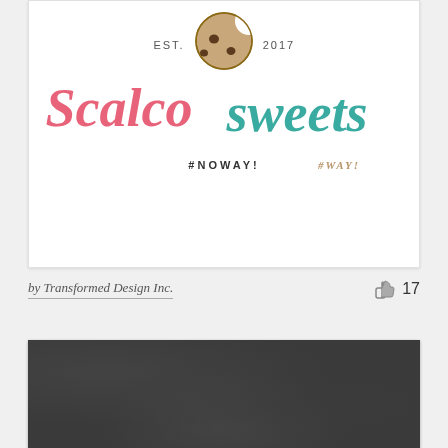[Figure (logo): Scalco Sweets bakery logo. EST. 2017 text flanking a cookie illustration at top. 'Scalco' in pink cursive script, 'sweets' in teal cursive script. Tagline '#NOWAY! #WAY!' in small caps below.]
by Transformed Design Inc.
17
[Figure (photo): Dark charcoal/grey textured background, possibly felt or fabric material.]